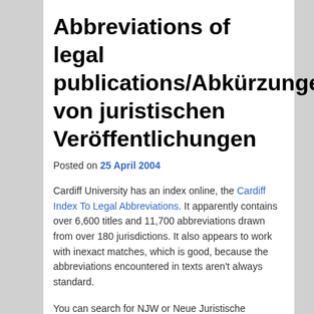Abbreviations of legal publications/Abkürzungen von juristischen Veröffentlichungen
Posted on 25 April 2004
Cardiff University has an index online, the Cardiff Index To Legal Abbreviations. It apparently contains over 6,600 titles and 11,700 abbreviations drawn from over 180 jurisdictions. It also appears to work with inexact matches, which is good, because the abbreviations encountered in texts aren't always standard.
You can search for NJW or Neue Juristische Wochenschrift, that is, on the abbreviation or on the title.